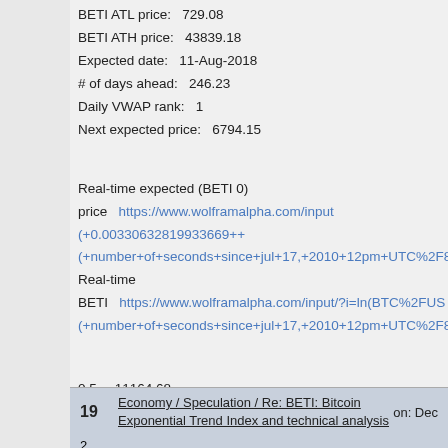BETI ATL price:   729.08
BETI ATH price:   43839.18
Expected date:   11-Aug-2018
# of days ahead:   246.23
Daily VWAP rank:   1
Next expected price:   6794.15
Real-time expected (BETI 0) price   https://www.wolframalpha.com/input/ (+0.00330632819933669++ (+number+of+seconds+since+jul+17,+2010+12pm+UTC%2F86400%2F...
Real-time BETI   https://www.wolframalpha.com/input/?i=ln(BTC%2FUS... (+number+of+seconds+since+jul+17,+2010+12pm+UTC%2F86400%2F...
| 0.5 | 11164.68 |
| 1.0 | 18407.44 |
| 1.5 | 30348.74 |
| 2.0 | 50036.61 |
| 2.5 | 82496.42 |
19   Economy / Speculation / Re: BETI: Bitcoin Exponential Trend Index and technical analysis   on: Dec